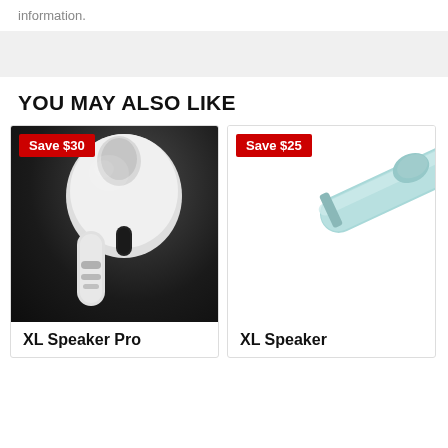information.
YOU MAY ALSO LIKE
[Figure (photo): White wireless earbud (AirPods-style) on a dark black background, close-up product shot. Save $30 badge in top left corner.]
XL Speaker Pro
[Figure (photo): Light blue cylindrical speaker or pen-style object on white background, partially visible. Save $25 badge in top left corner.]
XL Speaker